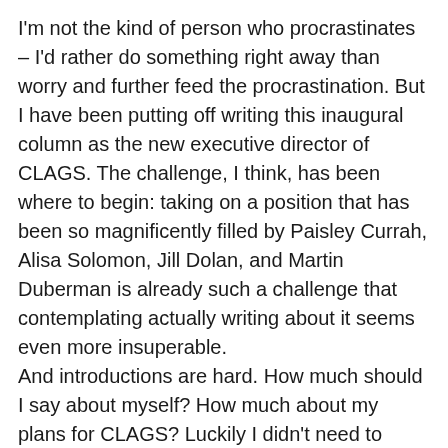I'm not the kind of person who procrastinates – I'd rather do something right away than worry and further feed the procrastination. But I have been putting off writing this inaugural column as the new executive director of CLAGS. The challenge, I think, has been where to begin: taking on a position that has been so magnificently filled by Paisley Currah, Alisa Solomon, Jill Dolan, and Martin Duberman is already such a challenge that contemplating actually writing about it seems even more insuperable. And introductions are hard. How much should I say about myself? How much about my plans for CLAGS? Luckily I didn't need to polish my writing